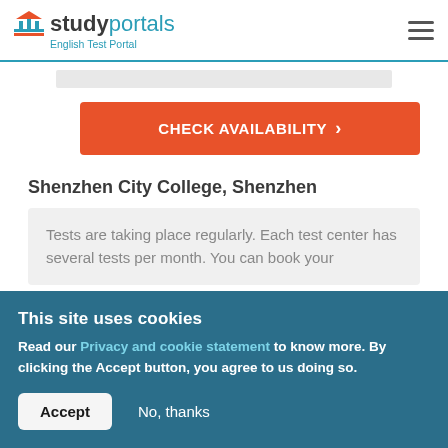studyportals English Test Portal
[Figure (screenshot): Gray content bar placeholder]
CHECK AVAILABILITY >
Shenzhen City College, Shenzhen
Tests are taking place regularly. Each test center has several tests per month. You can book your
This site uses cookies
Read our Privacy and cookie statement to know more. By clicking the Accept button, you agree to us doing so.
Accept   No, thanks